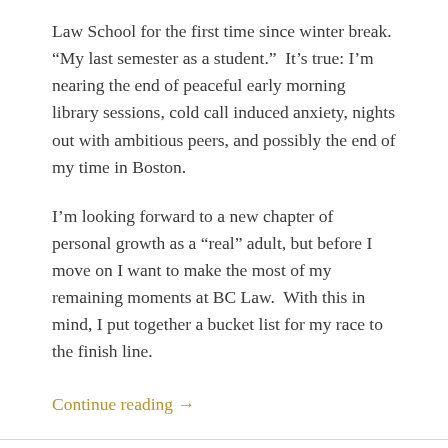Law School for the first time since winter break. “My last semester as a student.”  It’s true: I’m nearing the end of peaceful early morning library sessions, cold call induced anxiety, nights out with ambitious peers, and possibly the end of my time in Boston.
I’m looking forward to a new chapter of personal growth as a “real” adult, but before I move on I want to make the most of my remaining moments at BC Law.  With this in mind, I put together a bucket list for my race to the finish line.
Continue reading →